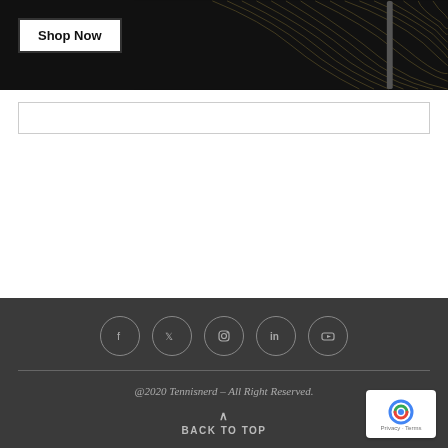[Figure (screenshot): Dark banner image with wavy gold lines on the right side and a 'Shop Now' button on the left]
[Figure (screenshot): Search input bar with border]
[Figure (infographic): Social media icons in circles: Facebook, Twitter, Instagram, LinkedIn, YouTube]
@2020 Tennisnerd – All Right Reserved.
BACK TO TOP